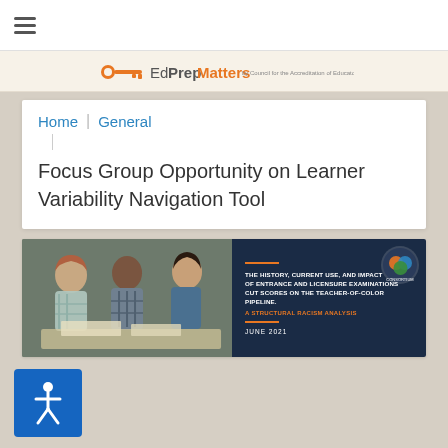EdPrepMatters — by Council for the Accreditation of Educator Preparation
Home
General
Focus Group Opportunity on Learner Variability Navigation Tool
[Figure (photo): Banner image showing three students studying together alongside a dark navy report cover titled 'The History, Current Use, and Impact of Entrance and Licensure Examinations Cut Scores on the Teacher-of-Color Pipeline: A Structural Racism Analysis, June 2021']
[Figure (other): Blue accessibility/wheelchair icon button]